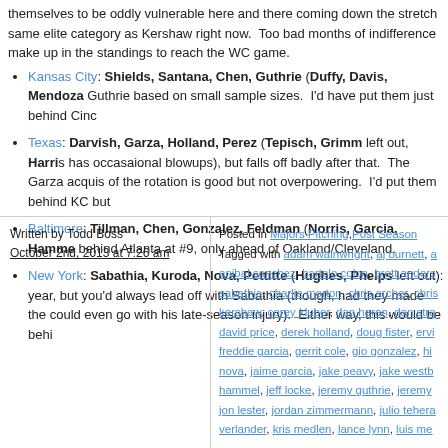themselves to be oddly vulnerable here and there coming down the stretch same elite category as Kershaw right now. Too bad months of indifference make up in the standings to reach the WC game.
Kansas City: Shields, Santana, Chen, Guthrie (Duffy, Davis, Mendoza Guthrie based on small sample sizes. I'd have put them just behind Cinc
Texas: Darvish, Garza, Holland, Perez (Tepisch, Grimm left out, Harris has occasaional blowups), but falls off badly after that. The Garza acquis of the rotation is good but not overpowering. I'd put them behind KC but
Baltimore: Tillman, Chen, Gonzalez, Feldman (Norris, Garcia, Hamme behind Atlanta at #9, only ahead of Oakland/Cleveland.
New York: Sabathia, Kuroda, Nova, Pettitte (Hughes, Phelps left out): year, but you'd always lead off with Sabathia (though, had they made the could even go with his late-season injury). Either way, this would be behi
Written by Todd Boss
October 2nd, 2013 at 7:26 am
Posted in Majors Pitching,Post Season
Tagged with adam wainwright, aj burnett, a anibal sanchez, bartolo colon, brett anders sabathia, charlie morton, chris archer, chris kershaw, corey kluber, dan haren, dan str david price, derek holland, doug fister, ervi freddie garcia, gerrit cole, gio gonzalez, hi nova, jaime garcia, jake peavy, jake westb hammel, jeff locke, jeremy guthrie, jeremy jon lester, jordan zimmermann, julio teher verlander, kris medlen, lance lynn, luis me